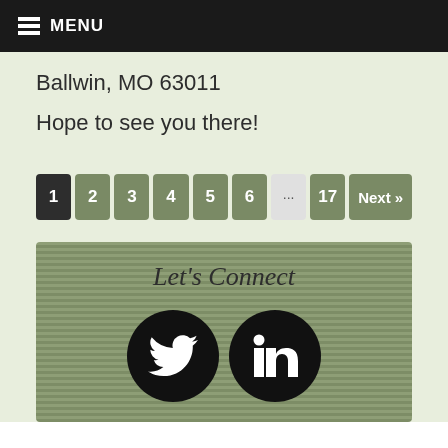MENU
Ballwin, MO 63011
Hope to see you there!
[Figure (other): Pagination bar with page buttons: 1 (active/dark), 2, 3, 4, 5, 6, ..., 17, Next »]
[Figure (other): Let's Connect social media section with Twitter and LinkedIn icons on striped olive green background]
Let's Connect